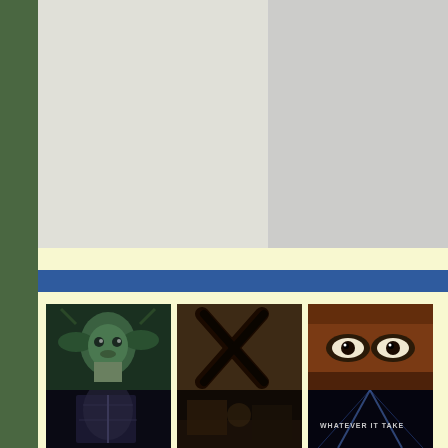[Figure (screenshot): Top section with two placeholder image areas on yellow/grey background, blue navigation band]
[Figure (photo): Yoda from Star Wars in dark forest scene, greenish tinted]
Star Wars Yoda explains
Members: 1
Yoda Star Wars
[Figure (photo): Slaughter Tribe - dark wooden background with X mark graffiti]
Slaughter Tribe
Members: 1
Slaughter Tribe
[Figure (photo): Manhunter 1986 - extreme close up of eyes, orange/amber toned]
Manhunter - 1986 (
Members: 1
Manhunter - 1986 ( Hannib...
[Figure (photo): Bottom row left: dark gothic architectural scene]
[Figure (photo): Bottom row center: dark indoor scene]
[Figure (photo): Bottom row right: dark scene with text WHATEVER IT TAKE]